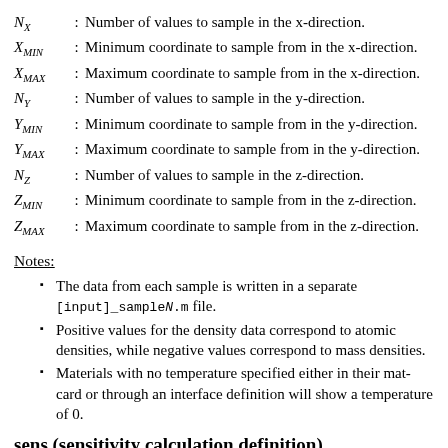NX : Number of values to sample in the x-direction.
XMIN : Minimum coordinate to sample from in the x-direction.
XMAX : Maximum coordinate to sample from in the x-direction.
NY : Number of values to sample in the y-direction.
YMIN : Minimum coordinate to sample from in the y-direction.
YMAX : Maximum coordinate to sample from in the y-direction.
NZ : Number of values to sample in the z-direction.
ZMIN : Minimum coordinate to sample from in the z-direction.
ZMAX : Maximum coordinate to sample from in the z-direction.
Notes:
The data from each sample is written in a separate [input]_sampleN.m file.
Positive values for the density data correspond to atomic densities, while negative values correspond to mass densities.
Materials with no temperature specified either in their mat-card or through an interface definition will show a temperature of 0.
sens (sensitivity calculation definition)